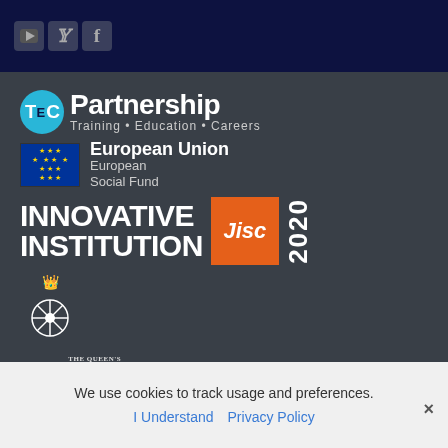[Figure (logo): Social media icons: YouTube, Twitter, Facebook on dark navy background]
[Figure (logo): TEC Partnership logo - Training Education Careers]
[Figure (logo): European Union European Social Fund logo with EU flag]
[Figure (logo): Innovative Institution Jisc 2020 award logo]
[Figure (logo): The Queen's Anniversary Prizes for Higher and Further Education 2021 logo]
We use cookies to track usage and preferences.
I Understand   Privacy Policy